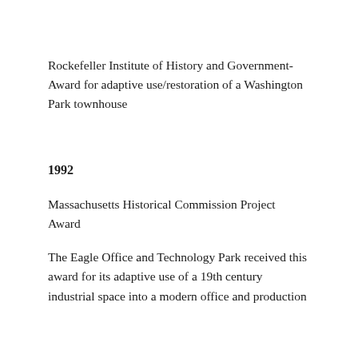Rockefeller Institute of History and Government- Award for adaptive use/restoration of a Washington Park townhouse
1992
Massachusetts Historical Commission Project Award
The Eagle Office and Technology Park received this award for its adaptive use of a 19th century industrial space into a modern office and production